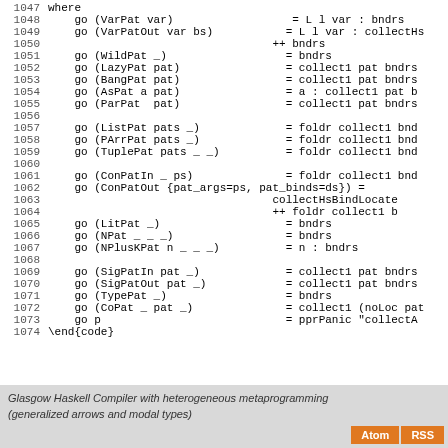Code block lines 1047-1074 showing Haskell pattern matching function collectHs with cases for VarPat, VarPatOut, WildPat, LazyPat, BangPat, AsPat, ParPat, ListPat, PArrPat, TuplePat, ConPatIn, ConPatOut, LitPat, NPat, NPlusKPat, SigPatIn, SigPatOut, TypePat, CoPat, and catch-all.
Glasgow Haskell Compiler with heterogeneous metaprogramming (generalized arrows and modal types)